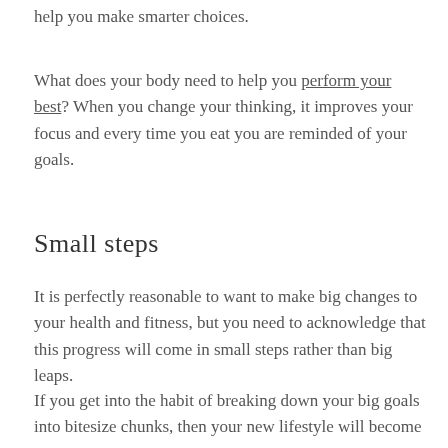help you make smarter choices.
What does your body need to help you perform your best? When you change your thinking, it improves your focus and every time you eat you are reminded of your goals.
Small steps
It is perfectly reasonable to want to make big changes to your health and fitness, but you need to acknowledge that this progress will come in small steps rather than big leaps.
If you get into the habit of breaking down your big goals into bitesize chunks, then your new lifestyle will become more